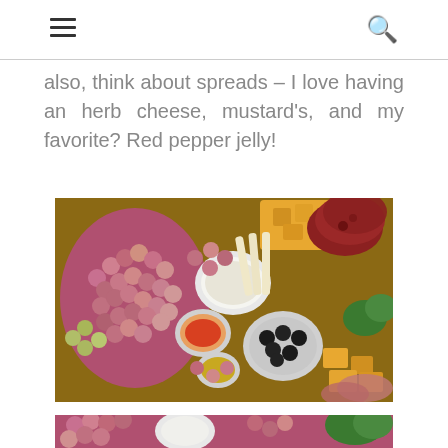[hamburger menu icon] [search icon]
also, think about spreads – I love having an herb cheese, mustard's, and my favorite? Red pepper jelly!
[Figure (photo): Overhead shot of a charcuterie board with grapes, cheeses, meats (salami, prosciutto), olives in a bowl, herb cheese dip, red pepper jelly, mustard, and garnishes.]
[Figure (photo): Partial view of another charcuterie board with grapes, a white dip bowl, and greens visible at the bottom edge of the page.]